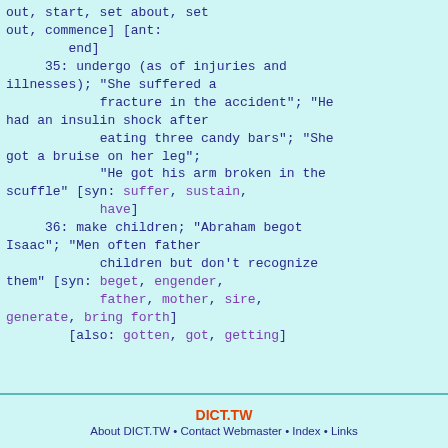out, start, set about, set out, commence] [ant:
            end]
        35: undergo (as of injuries and illnesses); "She suffered a
                fracture in the accident"; "He had an insulin shock after
                eating three candy bars"; "She got a bruise on her leg";
                "He got his arm broken in the scuffle" [syn: suffer, sustain,
                have]
        36: make children; "Abraham begot Isaac"; "Men often father
                children but don't recognize them" [syn: beget, engender,
                father, mother, sire, generate, bring forth]
            [also: gotten, got, getting]
DICT.TW
About DICT.TW • Contact Webmaster • Index • Links